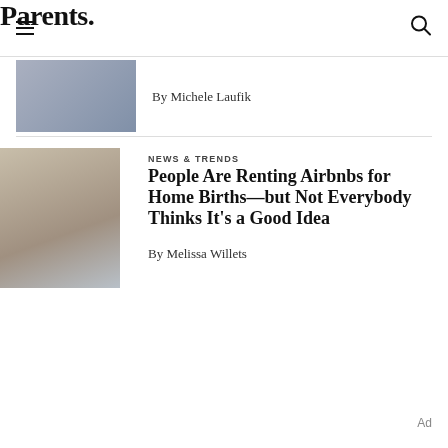Parents.
By Michele Laufik
NEWS & TRENDS
People Are Renting Airbnbs for Home Births—but Not Everybody Thinks It's a Good Idea
By Melissa Willets